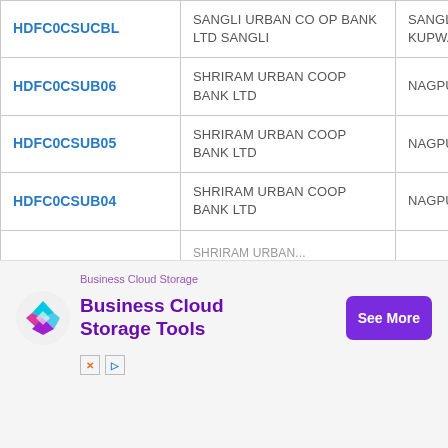| IFSC Code | Bank Name | City |
| --- | --- | --- |
| HDFC0CSUCBL | SANGLI URBAN CO OP BANK LTD SANGLI | SANGLI-MIRAJ-KUPWAD |
| HDFC0CSUB06 | SHRIRAM URBAN COOP BANK LTD | NAGPUR |
| HDFC0CSUB05 | SHRIRAM URBAN COOP BANK LTD | NAGPUR |
| HDFC0CSUB04 | SHRIRAM URBAN COOP BANK LTD | NAGPUR |
| ... | SHRIRAM URBAN... |  |
[Figure (other): Business Cloud Storage advertisement banner with logo, text 'Business Cloud Storage Tools' and 'See More' button]